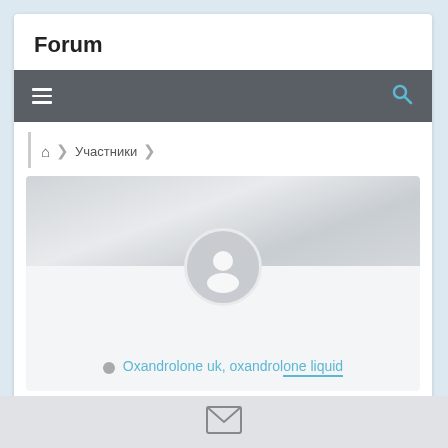Forum
[Figure (screenshot): Mobile forum interface showing hamburger menu icon and search icon on dark grey navigation bar]
🏠 > Участники >
[Figure (photo): User profile section with grey gradient banner and default avatar circle showing silhouette]
Oxandrolone uk, oxandrolone liquid
[Figure (other): Email/envelope icon in bottom grey bar]